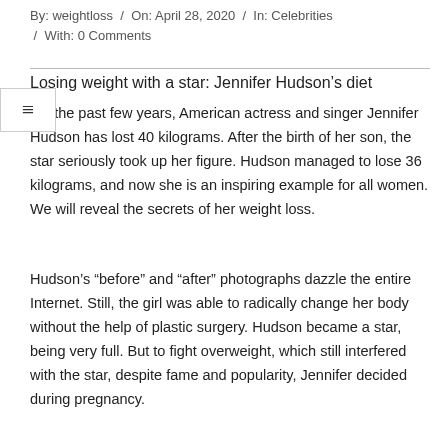By: weightloss / On: April 28, 2020 / In: Celebrities / With: 0 Comments
Losing weight with a star: Jennifer Hudson’s diet
Over the past few years, American actress and singer Jennifer Hudson has lost 40 kilograms. After the birth of her son, the star seriously took up her figure. Hudson managed to lose 36 kilograms, and now she is an inspiring example for all women. We will reveal the secrets of her weight loss.
Hudson’s “before” and “after” photographs dazzle the entire Internet. Still, the girl was able to radically change her body without the help of plastic surgery. Hudson became a star, being very full. But to fight overweight, which still interfered with the star, despite fame and popularity, Jennifer decided during pregnancy.